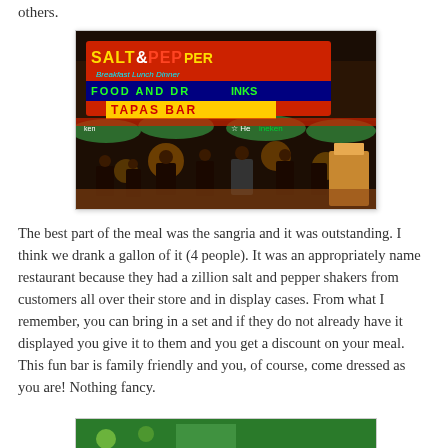others.
[Figure (photo): Nighttime exterior photo of Salt & Pepper restaurant, a tapas bar with illuminated neon signs reading 'SALT & PEPPER Breakfast Lunch Dinner FOOD AND DRINKS TAPAS BAR' and Heineken branding. Outdoor seating area filled with diners under green umbrellas, warm ambient lighting.]
The best part of the meal was the sangria and it was outstanding.  I think we drank a gallon of it (4 people).   It was an appropriately name restaurant because they had a zillion salt and pepper shakers from customers all over their store and in display cases.  From what I remember, you can bring in a set and if they do not already have it displayed you give it to them and you get a discount on your meal.  This fun bar is family friendly and you, of course, come dressed as you are! Nothing fancy.
[Figure (photo): Partial view of another photo at the bottom of the page, showing green colors, possibly an outdoor or nature scene.]